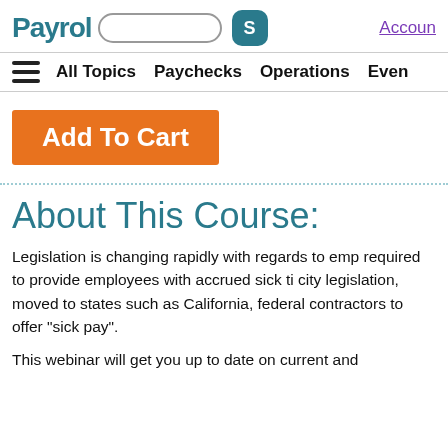Payroll [search bar] [S icon] Accoun
All Topics  Paychecks  Operations  Even
Add To Cart
About This Course:
Legislation is changing rapidly with regards to emp required to provide employees with accrued sick ti city legislation, moved to states such as California, federal contractors to offer "sick pay".
This webinar will get you up to date on current and